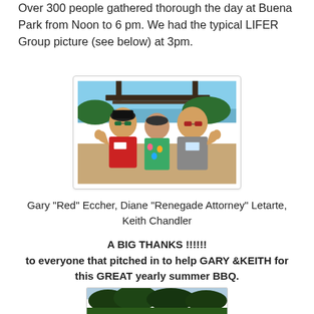Over 300 people gathered thorough the day at Buena Park from Noon to 6 pm. We had the typical LIFER Group picture (see below) at 3pm.
[Figure (photo): Three people posing outdoors at a park pavilion. Left: man in red Cardinals shirt with sunglasses giving thumbs up. Center: woman in floral outfit with hat. Right: man in gray shirt with sunglasses giving thumbs up.]
Gary "Red" Eccher, Diane "Renegade Attorney" Letarte, Keith Chandler
A BIG THANKS !!!!!! to everyone that pitched in to help GARY &KEITH for this GREAT yearly summer BBQ.
[Figure (photo): Outdoor group photo at a park showing trees and sky.]